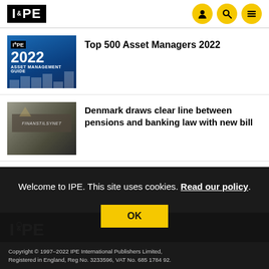IPE
[Figure (screenshot): IPE 2022 Asset Management Guide thumbnail - blue cover with year 2022 and bar chart graphic]
Top 500 Asset Managers 2022
[Figure (photo): Black and white photo of a building exterior with sign, Denmark related]
Denmark draws clear line between pensions and banking law with new bill
Welcome to IPE. This site uses cookies. Read our policy.
Copyright © 1997–2022 IPE International Publishers Limited, Registered in England, Reg No. 3233596, VAT No. 685 1784 92.